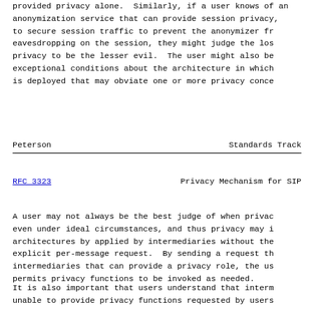provided privacy alone.  Similarly, if a user knows of an anonymization service that can provide session privacy, but needs to secure session traffic to prevent the anonymizer from eavesdropping on the session, they might judge the loss of privacy to be the lesser evil.  The user might also be aware of exceptional conditions about the architecture in which the system is deployed that may obviate one or more privacy concerns.
Peterson                        Standards Track
RFC 3323                    Privacy Mechanism for SIP
A user may not always be the best judge of when privacy is needed, even under ideal circumstances, and thus privacy may instead be architectures by applied by intermediaries without the need for an explicit per-message request.  By sending a request through intermediaries that can provide a privacy role, the user implicitly permits privacy functions to be invoked as needed.
It is also important that users understand that intermediaries unable to provide privacy functions requested by users